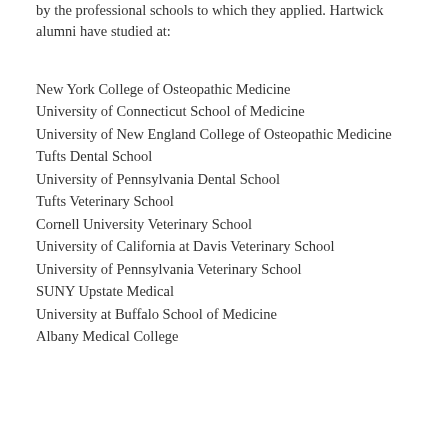by the professional schools to which they applied. Hartwick alumni have studied at:
New York College of Osteopathic Medicine
University of Connecticut School of Medicine
University of New England College of Osteopathic Medicine
Tufts Dental School
University of Pennsylvania Dental School
Tufts Veterinary School
Cornell University Veterinary School
University of California at Davis Veterinary School
University of Pennsylvania Veterinary School
SUNY Upstate Medical
University at Buffalo School of Medicine
Albany Medical College